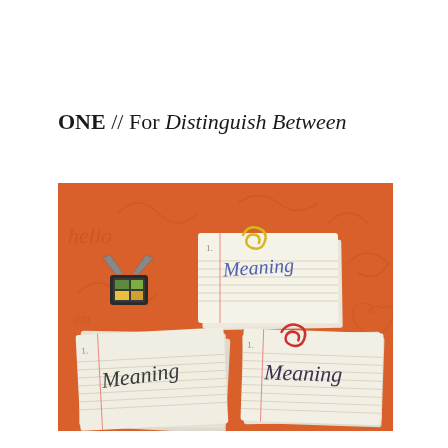ONE // For Distinguish Between
[Figure (photo): Photograph of three stacks of lined index cards labeled 'Meaning' in handwriting, arranged on an orange surface with decorative doodles. A binder clip and paper clips are visible. The cards appear to be vocabulary or study flashcards.]